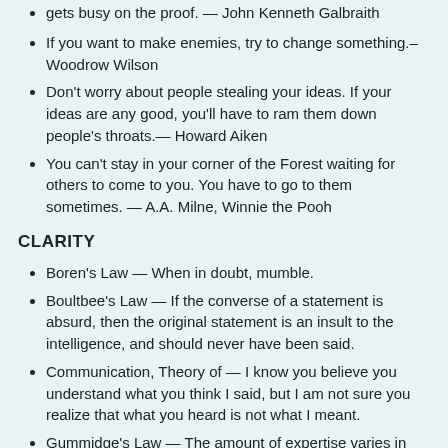gets busy on the proof. — John Kenneth Galbraith
If you want to make enemies, try to change something.– Woodrow Wilson
Don't worry about people stealing your ideas. If your ideas are any good, you'll have to ram them down people's throats.— Howard Aiken
You can't stay in your corner of the Forest waiting for others to come to you. You have to go to them sometimes. — A.A. Milne, Winnie the Pooh
CLARITY
Boren's Law — When in doubt, mumble.
Boultbee's Law — If the converse of a statement is absurd, then the original statement is an insult to the intelligence, and should never have been said.
Communication, Theory of — I know you believe you understand what you think I said, but I am not sure you realize that what you heard is not what I meant.
Gummidge's Law — The amount of expertise varies in inverse proportion to the number of statements understood by the general public.